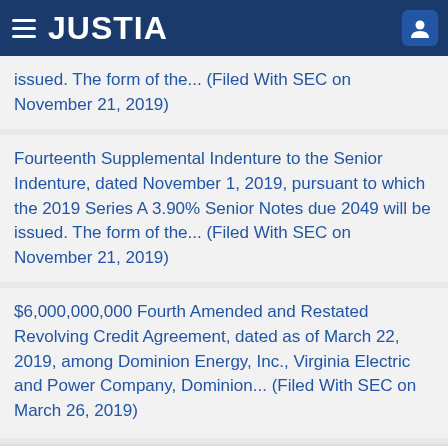JUSTIA
issued. The form of the... (Filed With SEC on November 21, 2019)
Fourteenth Supplemental Indenture to the Senior Indenture, dated November 1, 2019, pursuant to which the 2019 Series A 3.90% Senior Notes due 2049 will be issued. The form of the... (Filed With SEC on November 21, 2019)
$6,000,000,000 Fourth Amended and Restated Revolving Credit Agreement, dated as of March 22, 2019, among Dominion Energy, Inc., Virginia Electric and Power Company, Dominion... (Filed With SEC on March 26, 2019)